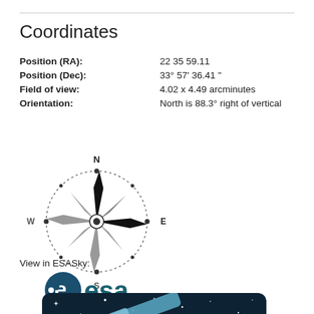Coordinates
Position (RA): 22 35 59.11
Position (Dec): 33° 57' 36.41"
Field of view: 4.02 x 4.49 arcminutes
Orientation: North is 88.3° right of vertical
[Figure (illustration): Compass rose showing N, S, E, W directions with decorative star/arrow design, dotted circle border. N points slightly right (88.3° from vertical), S is down-left, W points down, E points right.]
View in ESASky:
[Figure (logo): ESA logo: circular 'e' symbol with dot, followed by 'esa' text in teal/dark teal color]
[Figure (screenshot): ESASky application screenshot showing a dark night sky with stars and a telescope illustration, with ESASky branding partially visible at bottom]